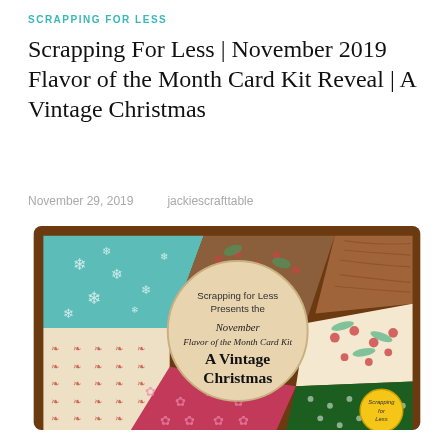SCRAPPING FOR LESS
Scrapping For Less | November 2019 Flavor of the Month Card Kit Reveal | A Vintage Christmas
November 29, 2019   jackiescrafttable
[Figure (illustration): Promotional image for Scrapping for Less November Flavor of the Month Card Kit titled 'A Vintage Christmas'. Brown background with fan-spread patterned papers including teal snowflake pattern, brown holly pattern, beige reindeer pattern, pink poinsettia pattern, and green polka dot pattern. Center circle reads 'Scrapping for Less Presents the November Flavor of the Month Card Kit A Vintage Christmas' with cursive and bold text. Small Scrapping for Less logo visible in bottom right corner.]